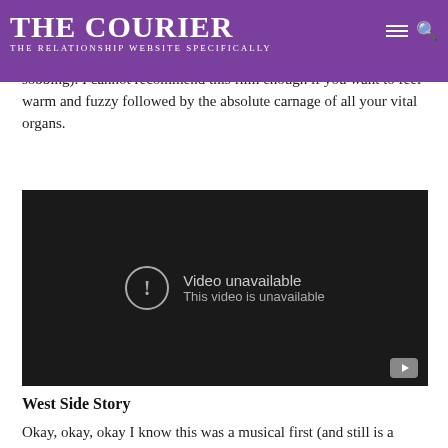THE COURIER | THE RELATIONSHIP WEBSITE SPECIFICALLY
you" never stop stinging after watching this movie. If there's a movie ending that is guaranteed to crush me, it's the final scene of Brokeback Mountain (and when Ennis buttons up that shirt, I literally cannot stop sobbing). I cannot recommend this film enough if you want to feel warm and fuzzy followed by the absolute carnage of all your vital organs.
[Figure (screenshot): YouTube video embed showing 'Video unavailable - This video is unavailable' message on a dark background]
West Side Story
Okay, okay, okay I know this was a musical first (and still is a musical movie) but this is MY list and